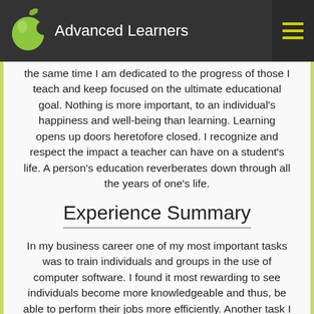Advanced Learners
the same time I am dedicated to the progress of those I teach and keep focused on the ultimate educational goal. Nothing is more important, to an individual's happiness and well-being than learning. Learning opens up doors heretofore closed. I recognize and respect the impact a teacher can have on a student's life. A person's education reverberates down through all the years of one's life.
Experience Summary
In my business career one of my most important tasks was to train individuals and groups in the use of computer software. I found it most rewarding to see individuals become more knowledgeable and thus, be able to perform their jobs more efficiently. Another task I performed was as a liaison or translator between